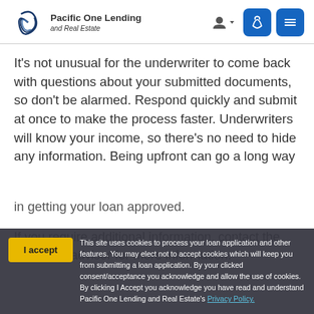Pacific One Lending and Real Estate
It’s not unusual for the underwriter to come back with questions about your submitted documents, so don’t be alarmed. Respond quickly and submit at once to make the process faster. Underwriters will know your income, so there’s no need to hide any information. Being upfront can go a long way in getting your loan approved.
If you require additional information, contact the mortgage advisor for more information.
This site uses cookies to process your loan application and other features. You may elect not to accept cookies which will keep you from submitting a loan application. By your clicked consent/acceptance you acknowledge and allow the use of cookies. By clicking I Accept you acknowledge you have read and understand Pacific One Lending and Real Estate’s Privacy Policy.